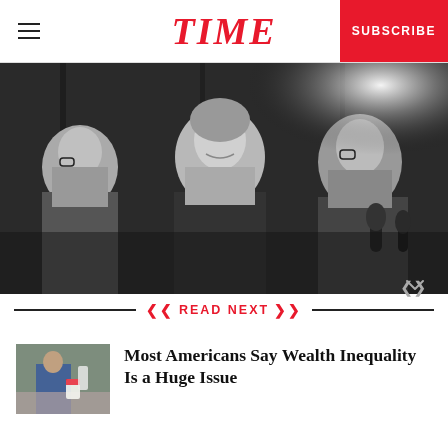TIME
[Figure (photo): Black and white photograph of three people at a press conference or formal event; a woman in the center is smiling, flanked by two men, one of whom is speaking into a microphone.]
READ NEXT
[Figure (photo): Thumbnail photograph of a person in blue clothing at what appears to be a fast food or retail counter.]
Most Americans Say Wealth Inequality Is a Huge Issue